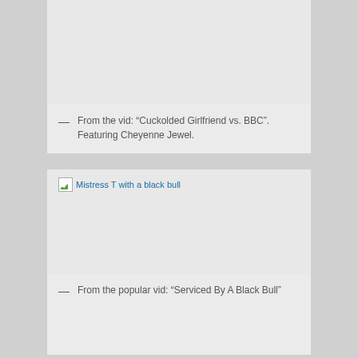[Figure (photo): Image placeholder area (broken image) for a card at top of page]
— From the vid: “Cuckolded Girlfriend vs. BBC”. Featuring Cheyenne Jewel.
[Figure (photo): Broken image placeholder labeled: Mistress T with a black bull]
— From the popular vid: “Serviced By A Black Bull”